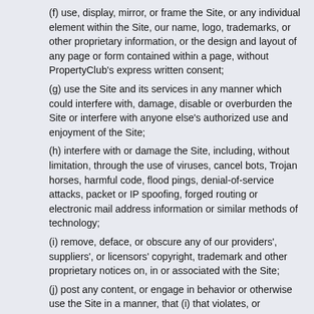(f) use, display, mirror, or frame the Site, or any individual element within the Site, our name, logo, trademarks, or other proprietary information, or the design and layout of any page or form contained within a page, without PropertyClub's express written consent;
(g) use the Site and its services in any manner which could interfere with, damage, disable or overburden the Site or interfere with anyone else's authorized use and enjoyment of the Site;
(h) interfere with or damage the Site, including, without limitation, through the use of viruses, cancel bots, Trojan horses, harmful code, flood pings, denial-of-service attacks, packet or IP spoofing, forged routing or electronic mail address information or similar methods of technology;
(i) remove, deface, or obscure any of our providers', suppliers', or licensors' copyright, trademark and other proprietary notices on, in or associated with the Site;
(j) post any content, or engage in behavior or otherwise use the Site in a manner, that (i) that violates, or encourages conduct that would violate, any applicable law or regulation or that is otherwise unlawful or tortious, or that would give rise to civil liability, (ii) is violent, threatening, or promotes violence or actions that are threatening to another person, (iii) is fraudulent, misleading, or deceptive, (iv) is defamatory, vulgar, obscene or pornographic, (v) promotes illegal activities or